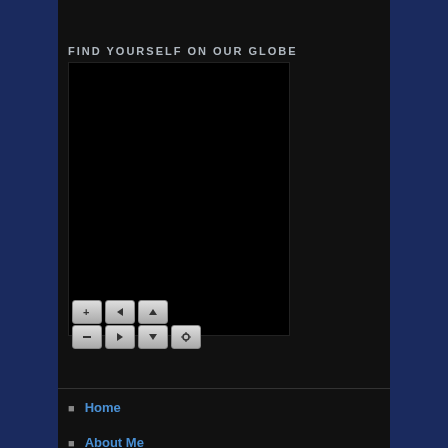FIND YOURSELF ON OUR GLOBE
[Figure (other): Interactive globe widget with navigation controls (zoom in/out, pan up/down/left/right, and a reset/home button). The globe display area is a black rectangle. Controls are small square buttons arranged in two rows of three buttons each.]
Home
About Me
Contact Me